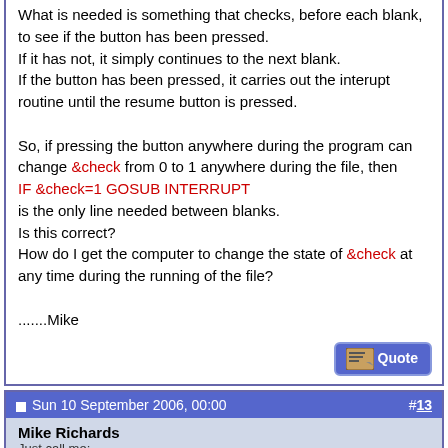What is needed is something that checks, before each blank, to see if the button has been pressed.
If it has not, it simply continues to the next blank.
If the button has been pressed, it carries out the interupt routine until the resume button is pressed.

So, if pressing the button anywhere during the program can change &check from 0 to 1 anywhere during the file, then
IF &check=1 GOSUB INTERRUPT
is the only line needed between blanks.
Is this correct?
How do I get the computer to change the state of &check at any time during the running of the file?

.......Mike
Mike,
Sometimes it helps to NOT think in computer terms. Think in terms of everyday objects, like road construction people who raise and lower flags, depending on whether or not they want traffic to stop. Like a flagman, a button can either raise (set) or lower (clear) a flag. Or one button can raise one flag and lower another.
Sun 10 September 2006, 00:00  #13  Mike Richards  Just call me: Mike